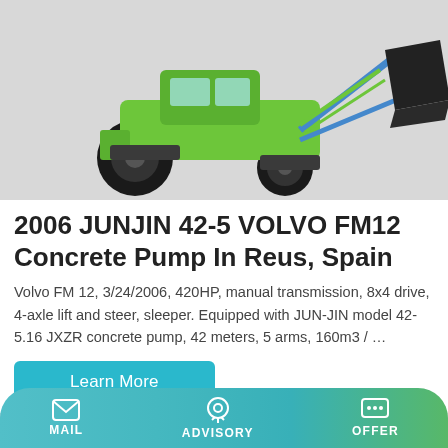[Figure (photo): Green and black wheeled loader / construction machine (concrete pump truck) photographed against a light grey background. The machine has large black tires, a green frame, and a large black metal bucket/scoop attachment in front.]
2006 JUNJIN 42-5 VOLVO FM12 Concrete Pump In Reus, Spain
Volvo FM 12, 3/24/2006, 420HP, manual transmission, 8x4 drive, 4-axle lift and steer, sleeper. Equipped with JUN-JIN model 42-5.16 JXZR concrete pump, 42 meters, 5 arms, 160m3 / …
Learn More
[Figure (photo): Partial image of a building exterior with white walls and windows, partially visible at the bottom of the page.]
MAIL   ADVISORY   OFFER